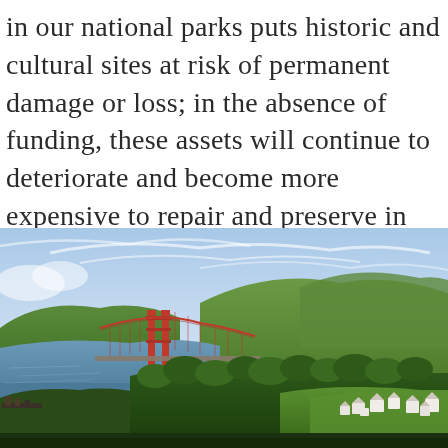in our national parks puts historic and cultural sites at risk of permanent damage or loss; in the absence of funding, these assets will continue to deteriorate and become more expensive to repair and preserve in the future.
[Figure (photo): Aerial landscape photograph showing the Golden Gate Bridge spanning a bay, with green rolling hills in the background and a small community of white buildings nestled among trees in the foreground right, under a partly cloudy blue sky.]